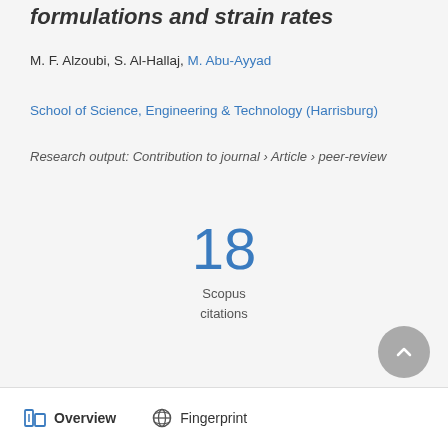formulations and strain rates
M. F. Alzoubi, S. Al-Hallaj, M. Abu-Ayyad
School of Science, Engineering & Technology (Harrisburg)
Research output: Contribution to journal › Article › peer-review
18
Scopus
citations